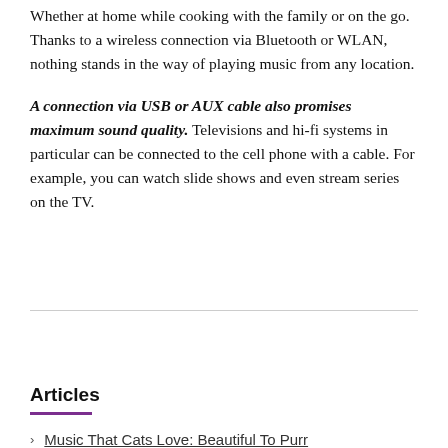Whether at home while cooking with the family or on the go. Thanks to a wireless connection via Bluetooth or WLAN, nothing stands in the way of playing music from any location.
A connection via USB or AUX cable also promises maximum sound quality. Televisions and hi-fi systems in particular can be connected to the cell phone with a cable. For example, you can watch slide shows and even stream series on the TV.
Articles
Music That Cats Love: Beautiful To Purr